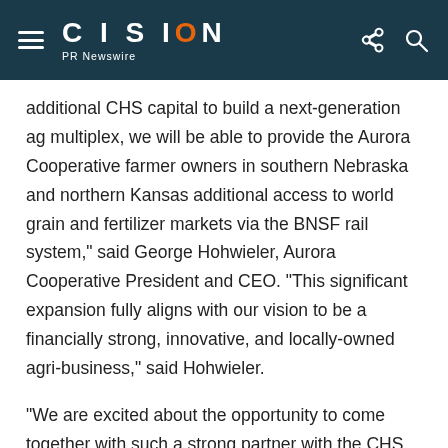CISION PR Newswire
additional CHS capital to build a next-generation ag multiplex, we will be able to provide the Aurora Cooperative farmer owners in southern Nebraska and northern Kansas additional access to world grain and fertilizer markets via the BNSF rail system," said George Hohwieler, Aurora Cooperative President and CEO.  "This significant expansion fully aligns with our vision to be a financially strong, innovative, and locally-owned agri-business," said Hohwieler.
"We are excited about the opportunity to come together with such a strong partner with the CHS Partnered Equity Program," said Lynden Johnson, Business Solutions executive vice president, CHS. "The